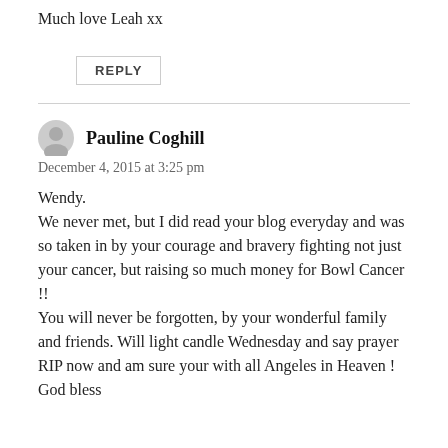Much love Leah xx
REPLY
Pauline Coghill
December 4, 2015 at 3:25 pm
Wendy.
We never met, but I did read your blog everyday and was so taken in by your courage and bravery fighting not just your cancer, but raising so much money for Bowl Cancer !!
You will never be forgotten, by your wonderful family and friends. Will light candle Wednesday and say prayer
RIP now and am sure your with all Angeles in Heaven !
God bless